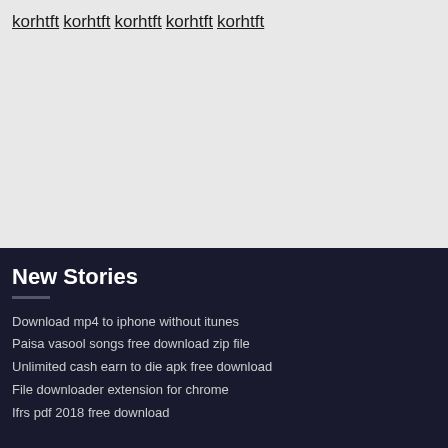korhtft
korhtft
korhtft
korhtft
korhtft
New Stories
Download mp4 to iphone without itunes
Paisa vasool songs free download zip file
Unlimited cash earn to die apk free download
File downloader extension for chrome
Ifrs pdf 2018 free download